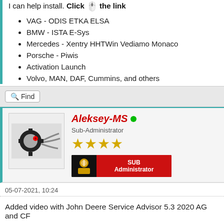I can help install. Click 🖱️ the link
VAG - ODIS ETKA ELSA
BMW - ISTA E-Sys
Mercedes - Xentry HHTWin Vediamo Monaco
Porsche - Piwis
Activation Launch
Volvo, MAN, DAF, Cummins, and others
Find (search button)
Aleksey-MS • Sub-Administrator ★★★★ SUB Administrator
05-07-2021, 10:24
Added video with John Deere Service Advisor 5.3 2020 AG and CF
I can help install. Click 🖱️ the link
VAG - ODIS ETKA ELSA (partial)